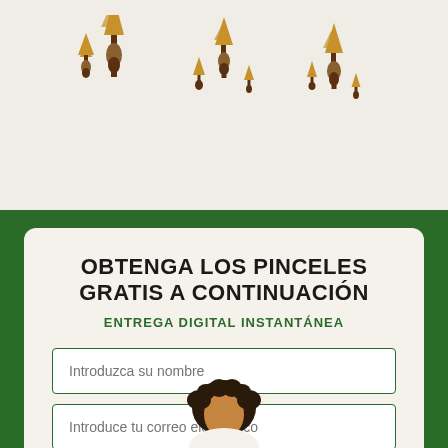[Figure (illustration): Top banner with light beige/cream background showing decorative gold painted brush or ornament figures on stands, arranged in three groups of varying sizes]
OBTENGA LOS PINCELES GRATIS A CONTINUACIÓN
ENTREGA DIGITAL INSTANTÁNEA
Introduzca su nombre
Introduce tu correo electrónico
EMAIL ME THE BRUSHES
[Figure (photo): Bottom portion showing head with curly dark hair of a person, partially visible at bottom of page]